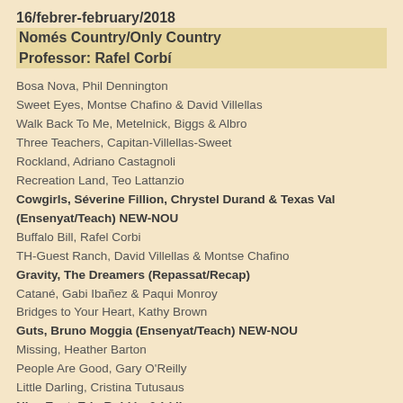16/febrer-february/2018
Només Country/Only Country
Professor: Rafel Corbí
Bosa Nova, Phil Dennington
Sweet Eyes, Montse Chafino & David Villellas
Walk Back To Me, Metelnick, Biggs & Albro
Three Teachers, Capitan-Villellas-Sweet
Rockland, Adriano Castagnoli
Recreation Land, Teo Lattanzio
Cowgirls, Séverine Fillion, Chrystel Durand & Texas Val (Ensenyat/Teach) NEW-NOU
Buffalo Bill, Rafel Corbi
TH-Guest Ranch, David Villellas & Montse Chafino
Gravity, The Dreamers (Repassat/Recap)
Catané, Gabi Ibañez & Paqui Monroy
Bridges to Your Heart, Kathy Brown
Guts, Bruno Moggia (Ensenyat/Teach) NEW-NOU
Missing, Heather Barton
People Are Good, Gary O'Reilly
Little Darling, Cristina Tutusaus
Nice East, Edu Roldós & Lídia